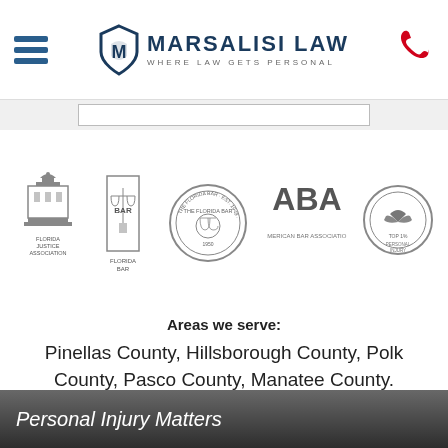Marsalisi Law — Where Law Gets Personal
[Figure (logo): Five professional association badges/logos: Florida Justice Association, Florida Bar, The Florida Bar seal, American Bar Association (ABA), and a Top 1% award medallion]
Areas we serve:
Pinellas County, Hillsborough County, Polk County, Pasco County, Manatee County.
Personal Injury Matters